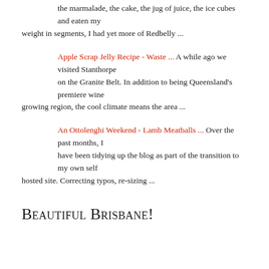the marmalade, the cake, the jug of juice, the ice cubes and eaten my weight in segments, I had yet more of Redbelly ...
Apple Scrap Jelly Recipe - Waste ... A while ago we visited Stanthorpe on the Granite Belt. In addition to being Queensland's premiere wine growing region, the cool climate means the area ...
An Ottolenghi Weekend - Lamb Meatballs ... Over the past months, I have been tidying up the blog as part of the transition to my own self hosted site. Correcting typos, re-sizing ...
Beautiful Brisbane!